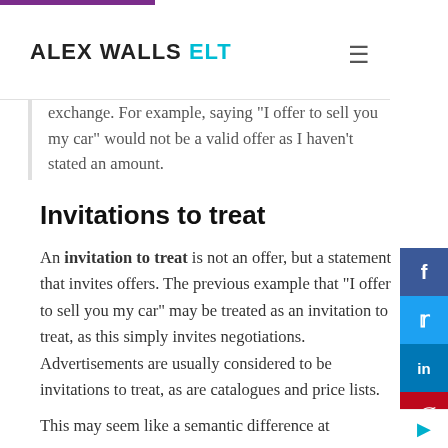ALEX WALLS ELT
exchange. For example, saying "I offer to sell you my car" would not be a valid offer as I haven't stated an amount.
Invitations to treat
An invitation to treat is not an offer, but a statement that invites offers. The previous example that "I offer to sell you my car" may be treated as an invitation to treat, as this simply invites negotiations. Advertisements are usually considered to be invitations to treat, as are catalogues and price lists.
This may seem like a semantic difference at